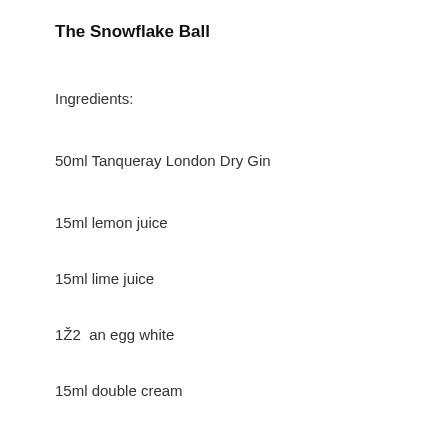The Snowflake Ball
Ingredients:
50ml Tanqueray London Dry Gin
15ml lemon juice
15ml lime juice
1Ž2  an egg white
15ml double cream
3 dashes of orange flower water